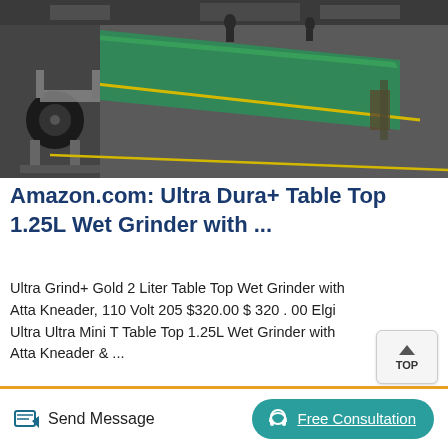[Figure (photo): Industrial conveyor belt system in a factory setting with green belt running along the length of the floor, machinery and equipment visible]
Amazon.com: Ultra Dura+ Table Top 1.25L Wet Grinder with ...
Ultra Grind+ Gold 2 Liter Table Top Wet Grinder with Atta Kneader, 110 Volt 205 $320.00 $ 320 . 00 Elgi Ultra Ultra Mini T Table Top 1.25L Wet Grinder with Atta Kneader & ...
[Figure (photo): Interior of an industrial building with metal roof trusses and structural beams visible]
Send Message
Free Consultation